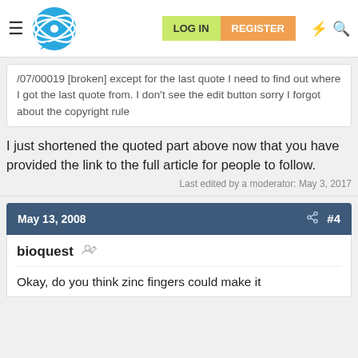Navigation bar with hamburger menu, logo, LOG IN, REGISTER buttons
/07/00019 [broken] except for the last quote I need to find out where I got the last quote from. I don't see the edit button sorry I forgot about the copyright rule
I just shortened the quoted part above now that you have provided the link to the full article for people to follow.
Last edited by a moderator: May 3, 2017
May 13, 2008  #4
bioquest
Okay, do you think zinc fingers could make it